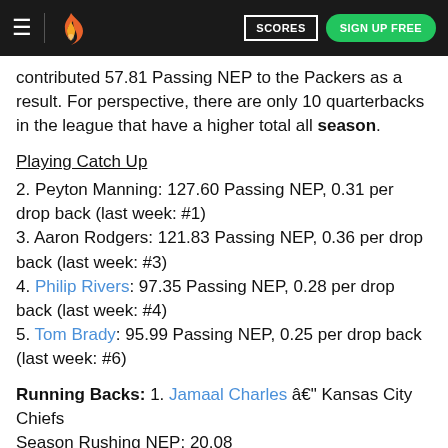SCORES | SIGN UP FREE
contributed 57.81 Passing NEP to the Packers as a result. For perspective, there are only 10 quarterbacks in the league that have a higher total all season.
Playing Catch Up
2. Peyton Manning: 127.60 Passing NEP, 0.31 per drop back (last week: #1)
3. Aaron Rodgers: 121.83 Passing NEP, 0.36 per drop back (last week: #3)
4. Philip Rivers: 97.35 Passing NEP, 0.28 per drop back (last week: #4)
5. Tom Brady: 95.99 Passing NEP, 0.25 per drop back (last week: #6)
Running Backs: 1. Jamaal Charles – Kansas City Chiefs
Season Rushing NEP: 20.08